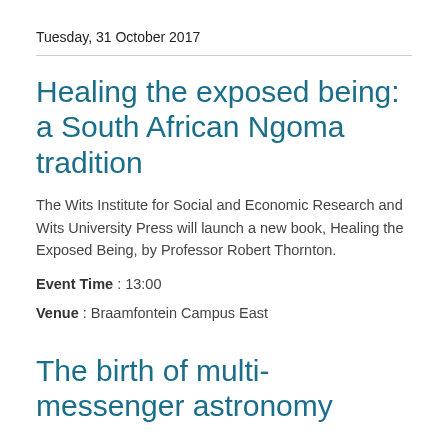Tuesday, 31 October 2017
Healing the exposed being: a South African Ngoma tradition
The Wits Institute for Social and Economic Research and Wits University Press will launch a new book, Healing the Exposed Being, by Professor Robert Thornton.
Event Time : 13:00
Venue : Braamfontein Campus East
The birth of multi-messenger astronomy